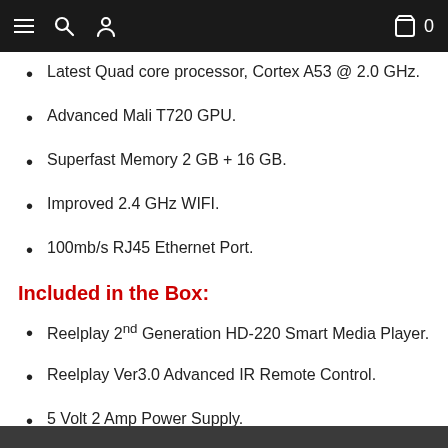Navigation bar with menu, search, user icons and cart (0)
Latest Quad core processor, Cortex A53 @ 2.0 GHz.
Advanced Mali T720 GPU.
Superfast Memory 2 GB + 16 GB.
Improved 2.4 GHz WIFI.
100mb/s RJ45 Ethernet Port.
Included in the Box:
Reelplay 2nd Generation HD-220 Smart Media Player.
Reelplay Ver3.0 Advanced IR Remote Control.
5 Volt 2 Amp Power Supply.
HDMI Cable.
Quick Start Guide.